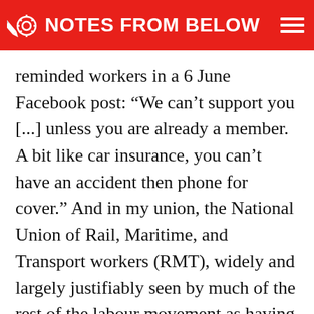NOTES FROM BELOW
reminded workers in a 6 June Facebook post: “We can’t support you [...] unless you are already a member. A bit like car insurance, you can’t have an accident then phone for cover.” And in my union, the National Union of Rail, Maritime, and Transport workers (RMT), widely and largely justifiably seen by much of the rest of the labour movement as having a more radical approach to organising than many other unions, the argument is common.